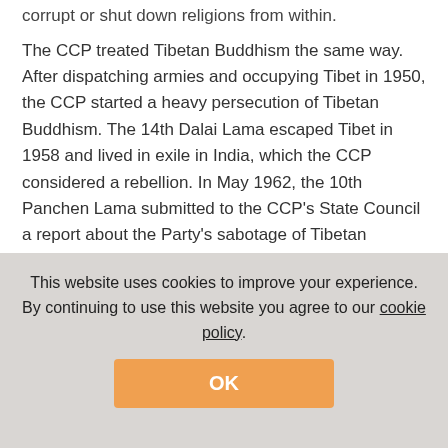corrupt or shut down religions from within.
The CCP treated Tibetan Buddhism the same way. After dispatching armies and occupying Tibet in 1950, the CCP started a heavy persecution of Tibetan Buddhism. The 14th Dalai Lama escaped Tibet in 1958 and lived in exile in India, which the CCP considered a rebellion. In May 1962, the 10th Panchen Lama submitted to the CCP's State Council a report about the Party's sabotage of Tibetan culture, especially its Buddhist traditions:
As for the eradication of Buddhist statues. Buddhist
This website uses cookies to improve your experience. By continuing to use this website you agree to our cookie policy
OK